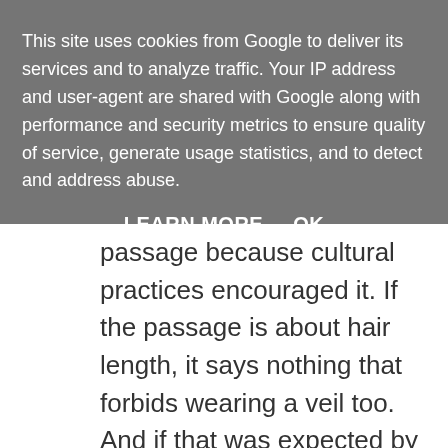This site uses cookies from Google to deliver its services and to analyze traffic. Your IP address and user-agent are shared with Google along with performance and security metrics to ensure quality of service, generate usage statistics, and to detect and address abuse.
LEARN MORE    OK
passage because cultural practices encouraged it. If the passage is about hair length, it says nothing that forbids wearing a veil too. And if that was expected by the wider culture, it could come to be justified from chapter 10v32-77